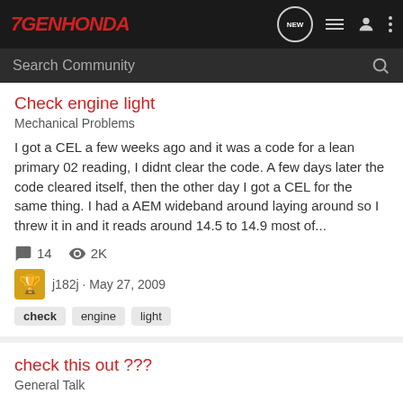7GENHONDA
Search Community
Check engine light
Mechanical Problems
I got a CEL a few weeks ago and it was a code for a lean primary 02 reading, I didnt clear the code. A few days later the code cleared itself, then the other day I got a CEL for the same thing. I had a AEM wideband around laying around so I threw it in and it reads around 14.5 to 14.9 most of...
14   2K
j182j · May 27, 2009
check   engine   light
check this out ???
General Talk